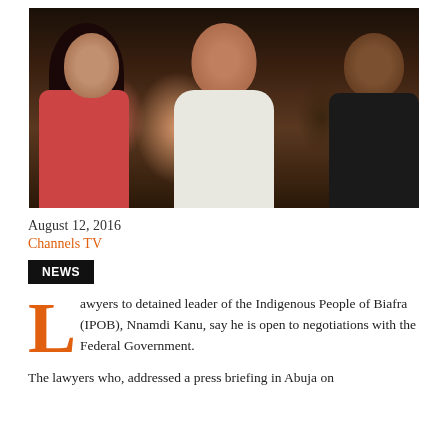[Figure (photo): Photo of Nnamdi Kanu, leader of Indigenous People of Biafra (IPOB), seated between a woman in a red/pink sweater on the left and a man in dark clothing on the right. A woman partially visible at top. Indoor setting with dark background.]
August 12, 2016
Channels TV
NEWS
Lawyers to detained leader of the Indigenous People of Biafra (IPOB), Nnamdi Kanu, say he is open to negotiations with the Federal Government.
The lawyers who, addressed a press briefing in Abuja on